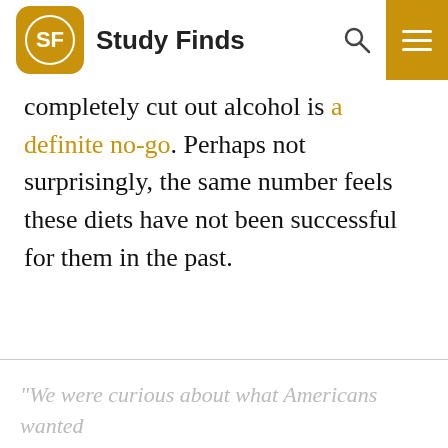Study Finds
completely cut out alcohol is a definite no-go. Perhaps not surprisingly, the same number feels these diets have not been successful for them in the past.
“We were curious about what Americans wanted